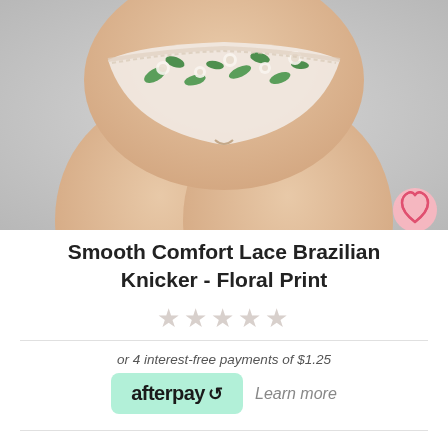[Figure (photo): Product photo of a model wearing a floral print Brazilian knicker/underwear with lace detail, with a light grey background. A pink heart/wishlist button is visible in the bottom right corner of the image.]
Smooth Comfort Lace Brazilian Knicker - Floral Print
★★★★★ (star rating, empty/unrated)
or 4 interest-free payments of $1.25
[Figure (logo): Afterpay logo badge in mint green with text 'afterpay' and a recycling arrow symbol]
Learn more